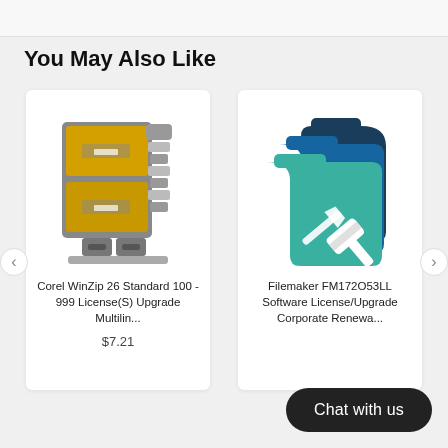You May Also Like
[Figure (illustration): WinZip application icon showing a yellow file cabinet with a zipper]
Corel WinZip 26 Standard 100 - 999 License(S) Upgrade Multilin...
$7.21
[Figure (illustration): FileMaker application icon showing teal and dark blue folder tabs with a hammer/wrench tool]
Filemaker FM172O53LL Software License/Upgrade Corporate Renewa...
Chat with us